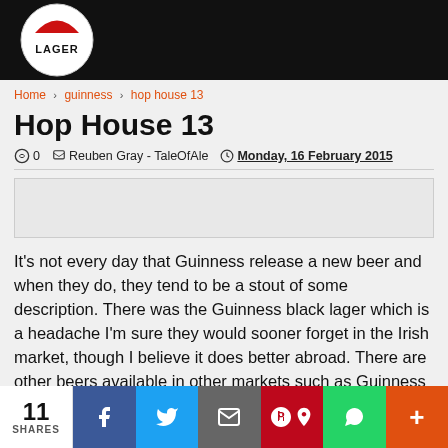[Figure (logo): LAGER logo/brand badge on black background banner]
Home > guinness > hop house 13
Hop House 13
0  Reuben Gray - TaleOfAle  Monday, 16 February 2015
[Figure (other): Advertisement placeholder box]
It's not every day that Guinness release a new beer and when they do, they tend to be a stout of some description. There was the Guinness black lager which is a headache I'm sure they would sooner forget in the Irish market, though I believe it does better abroad. There are other beers available in other markets such as Guinness Blonde in the USA but I believe this is a different beer
11 SHARES  [Facebook] [Twitter] [Email] [Pinterest] [WhatsApp] [More]